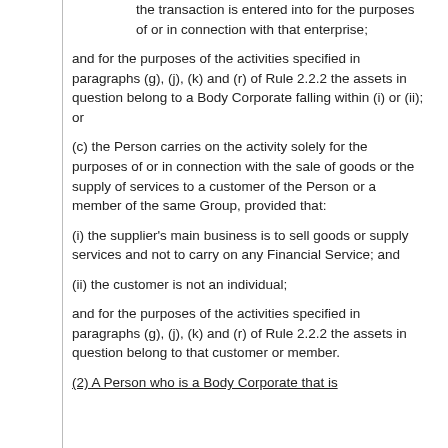the transaction is entered into for the purposes of or in connection with that enterprise;
and for the purposes of the activities specified in paragraphs (g), (j), (k) and (r) of Rule 2.2.2 the assets in question belong to a Body Corporate falling within (i) or (ii); or
(c) the Person carries on the activity solely for the purposes of or in connection with the sale of goods or the supply of services to a customer of the Person or a member of the same Group, provided that:
(i) the supplier's main business is to sell goods or supply services and not to carry on any Financial Service; and
(ii) the customer is not an individual;
and for the purposes of the activities specified in paragraphs (g), (j), (k) and (r) of Rule 2.2.2 the assets in question belong to that customer or member.
(2) A Person who is a Body Corporate that is